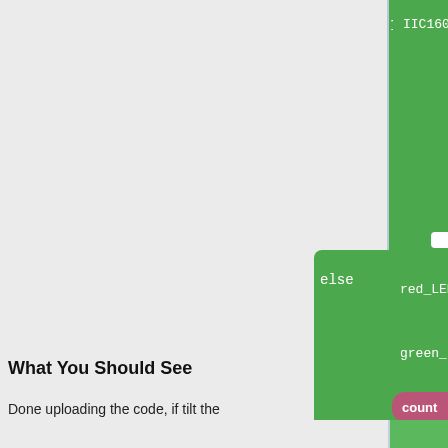[Figure (screenshot): Block-based programming interface showing code blocks: IIC1602LCD with clear ON, print line1, print line2; else block with red_LED Pin ledPin1, green_LED Pin ledPin, count = count - 1, IIC1602LCD with clear ON, print line1, print line2; Delay ms 1000]
What You Should See
Done uploading the code, if tilt the